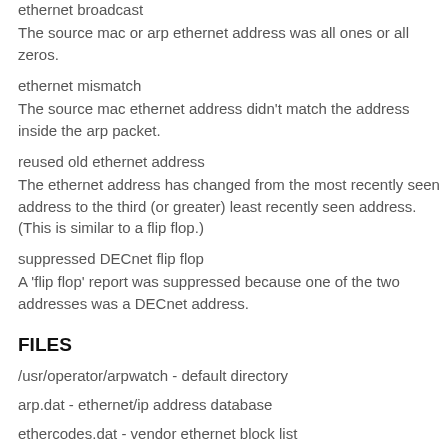ethernet broadcast
The source mac or arp ethernet address was all ones or all zeros.
ethernet mismatch
The source mac ethernet address didn't match the address inside the arp packet.
reused old ethernet address
The ethernet address has changed from the most recently seen address to the third (or greater) least recently seen address. (This is similar to a flip flop.)
suppressed DECnet flip flop
A 'flip flop' report was suppressed because one of the two addresses was a DECnet address.
FILES
/usr/operator/arpwatch - default directory
arp.dat - ethernet/ip address database
ethercodes.dat - vendor ethernet block list